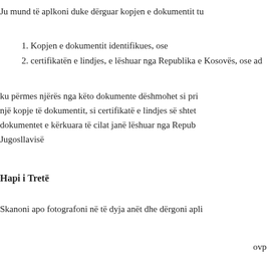Ju mund të aplkoni duke dërguar kopjen e dokumentit tu
1. Kopjen e dokumentit identifikues, ose
2. certifikatën e lindjes, e lëshuar nga Republika e Kosovës, ose ad
ku përmes njërës nga këto dokumente dëshmohet si pri një kopje të dokumentit, si certifikatë e lindjes së shtet dokumentet e kërkuara të cilat janë lëshuar nga Repub Jugosllavisë
Hapi i Tretë
Skanoni apo fotografoni në të dyja anët dhe dërgoni apli
ovp